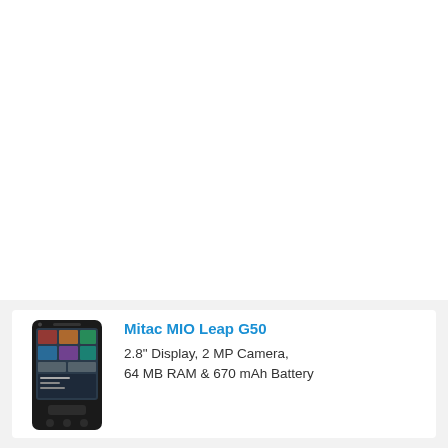[Figure (photo): Photo of Mitac MIO Leap G50 smartphone — dark colored touchscreen phone shown front-facing]
Mitac MIO Leap G50
2.8" Display, 2 MP Camera, 64 MB RAM & 670 mAh Battery